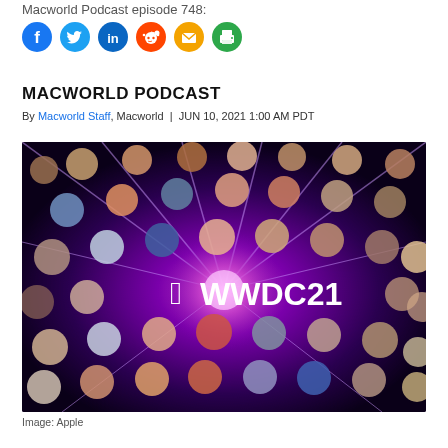Macworld Podcast episode 748:
[Figure (other): Social sharing icons: Facebook (blue circle with f), Twitter (cyan circle with bird), LinkedIn (dark blue circle with in), Reddit (orange circle with alien), Email (yellow/orange circle with envelope), Print (green circle with printer)]
MACWORLD PODCAST
By Macworld Staff, Macworld | JUN 10, 2021 1:00 AM PDT
[Figure (photo): Apple WWDC21 promotional image showing animated Memoji-style character heads arranged around a central glowing purple light burst with the Apple logo and WWDC21 text in white]
Image: Apple